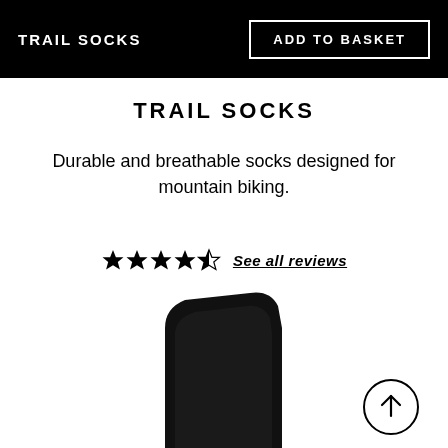TRAIL SOCKS | ADD TO BASKET
TRAIL SOCKS
Durable and breathable socks designed for mountain biking.
★★★★½  See all reviews
[Figure (photo): Black trail socks product image, partial view showing upper portion of sock against white background. Circle button with upward arrow in lower right.]